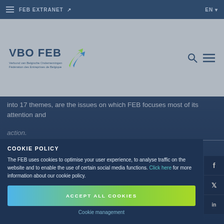FEB EXTRANET ↗   EN
[Figure (logo): VBO FEB logo with double arrow icon in green and blue, text below reading 'Verbond van Belgische Ondernemingen / Fédération des Entreprises de Belgique']
into 17 themes, are the issues on which FEB focuses most of its attention and action.
COOKIE POLICY
The FEB uses cookies to optimise your user experience, to analyse traffic on the website and to enable the use of certain social media functions. Click here for more information about our cookie policy.
ACCEPT ALL COOKIES
Cookie management
ECONOMICS & BUSINESS CYCLE